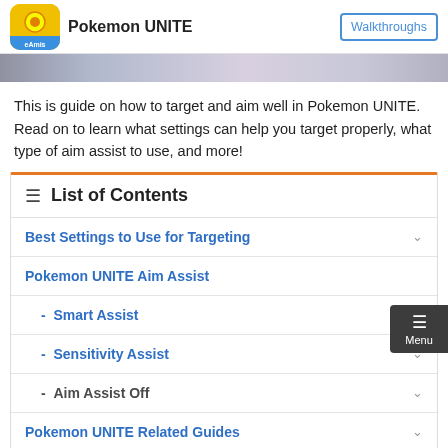Pokemon UNITE | Walkthroughs
[Figure (photo): Banner image strip showing a partially visible Pokemon UNITE game banner]
This is guide on how to target and aim well in Pokemon UNITE. Read on to learn what settings can help you target properly, what type of aim assist to use, and more!
List of Contents
Best Settings to Use for Targeting
Pokemon UNITE Aim Assist
- Smart Assist
- Sensitivity Assist
- Aim Assist Off
Pokemon UNITE Related Guides